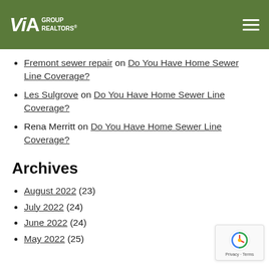VIA GROUP REALTORS
Fremont sewer repair on Do You Have Home Sewer Line Coverage?
Les Sulgrove on Do You Have Home Sewer Line Coverage?
Rena Merritt on Do You Have Home Sewer Line Coverage?
Archives
August 2022 (23)
July 2022 (24)
June 2022 (24)
May 2022 (25)